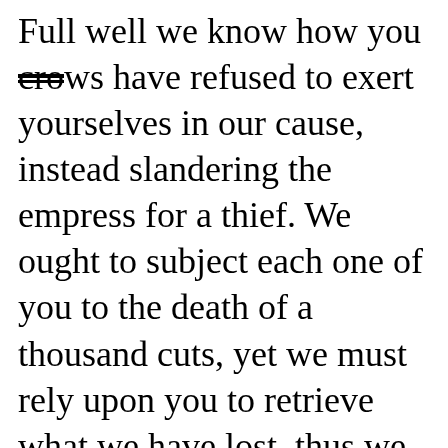Full well we know how you crows have refused to exert yourselves in our cause, instead slandering the empress for a thief. We ought to subject each one of you to the death of a thousand cuts, yet we must rely upon you to retrieve what we have lost, thus we spare your lives for now. In all our palace there is neither stone pestle nor